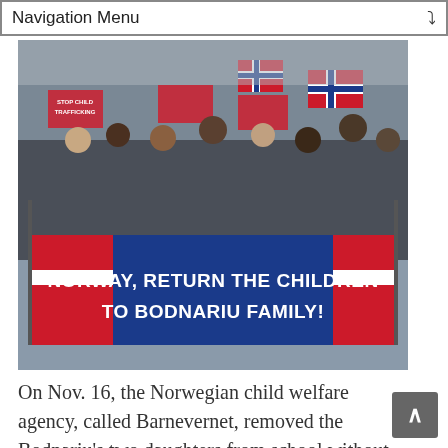Navigation Menu
[Figure (photo): Protest crowd holding signs and Norwegian flags with a large banner reading 'NORWAY, RETURN THE CHILDREN TO BODNARIU FAMILY!']
On Nov. 16, the Norwegian child welfare agency, called Barnevernet, removed the Bodnariu's two daughters from school without their parents' knowledge. Later that day, police arrived at the Bodnarius' home and removed two of their three sons, leaving the 3-month-old baby with Ruth. Marius rushed home from work, and he and Ruth went to the police station to find out what was going on, but received no answers. The next day, police came again to the home and removed the baby, claiming Ruth's display of tears at the police station the day before posed a danger to the child, according to a